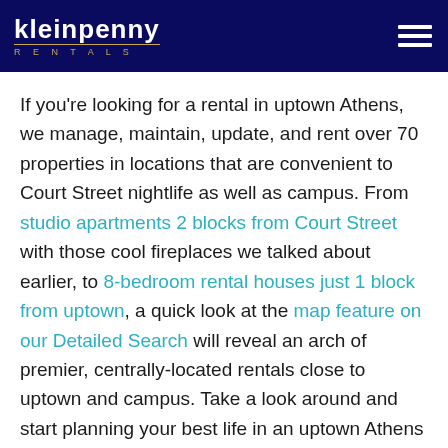Kleinpenny RENTALS
If you're looking for a rental in uptown Athens, we manage, maintain, update, and rent over 70 properties in locations that are convenient to Court Street nightlife as well as campus. From studio apartments 2 blocks from Court Street with those cool fireplaces we talked about earlier, to 8-bedroom rental houses just 1 block from uptown, a quick look at the map feature on our Detailed Search will reveal an arch of premier, centrally-located rentals close to uptown and campus. Take a look around and start planning your best life in an uptown Athens rental.